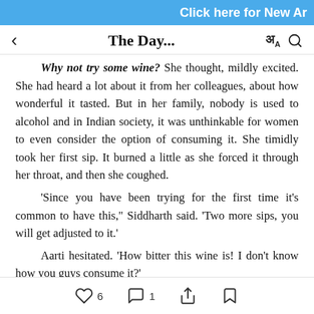Click here for New Ar
The Day...
Why not try some wine? She thought, mildly excited. She had heard a lot about it from her colleagues, about how wonderful it tasted. But in her family, nobody is used to alcohol and in Indian society, it was unthinkable for women to even consider the option of consuming it. She timidly took her first sip. It burned a little as she forced it through her throat, and then she coughed.
'Since you have been trying for the first time it's common to have this," Siddharth said. 'Two more sips, you will get adjusted to it.'
Aarti hesitated. 'How bitter this wine is! I don't know how you guys consume it?'
He let out a hearty laugh. She couldn't help grinning back at him. She quietly took another sip, it was slowly beginning to taste better.
♡ 6   ○ 1   share   bookmark